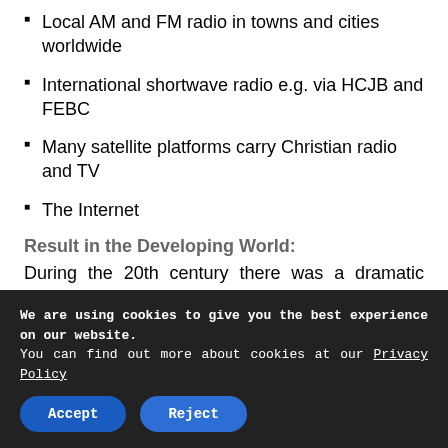Local AM and FM radio in towns and cities worldwide
International shortwave radio e.g. via HCJB and FEBC
Many satellite platforms carry Christian radio and TV
The Internet
Result in the Developing World:
During the 20th century there was a dramatic increase in the number of missionaries: 62,000 to over 400,000. Also during this time the number of Christians in Africa, Asia and Latin America increased ten-fold. In 1988 there were 18,000 people groups with insufficient
We are using cookies to give you the best experience on our website.
You can find out more about cookies at our Privacy Policy
Accept
Reject